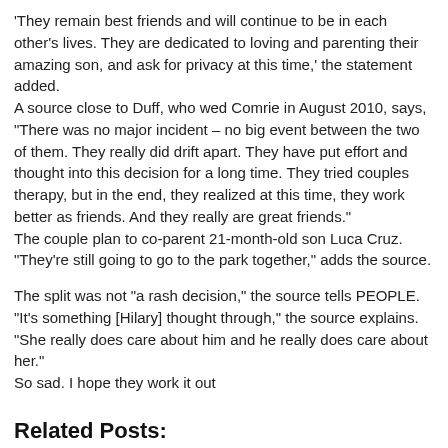'They remain best friends and will continue to be in each other's lives. They are dedicated to loving and parenting their amazing son, and ask for privacy at this time,' the statement added.
A source close to Duff, who wed Comrie in August 2010, says, "There was no major incident – no big event between the two of them. They really did drift apart. They have put effort and thought into this decision for a long time. They tried couples therapy, but in the end, they realized at this time, they work better as friends. And they really are great friends."
The couple plan to co-parent 21-month-old son Luca Cruz. "They're still going to go to the park together," adds the source.
The split was not "a rash decision," the source tells PEOPLE. "It's something [Hilary] thought through," the source explains. "She really does care about him and he really does care about her."
So sad. I hope they work it out
Related Posts:
[Figure (screenshot): Thumbnail of a social media post by @amarachi253 dated Jun 5, with text beginning 'ople help me to thank Jehovah overdo, who has done somethi']
[Figure (photo): Thumbnail photo showing a person with orange/red hair and a lightning bolt graphic overlay]